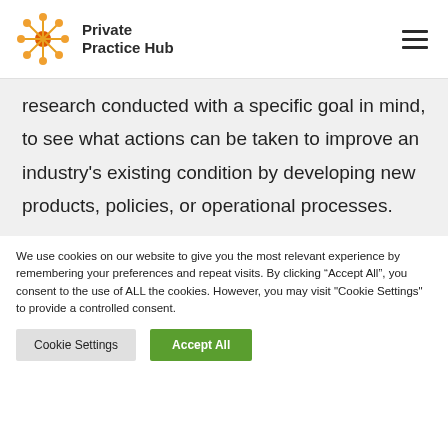Private Practice Hub
research conducted with a specific goal in mind, to see what actions can be taken to improve an industry's existing condition by developing new products, policies, or operational processes.
We use cookies on our website to give you the most relevant experience by remembering your preferences and repeat visits. By clicking “Accept All”, you consent to the use of ALL the cookies. However, you may visit "Cookie Settings" to provide a controlled consent.